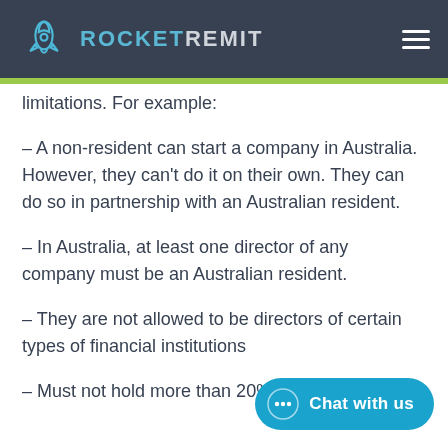ROCKETREMIT
limitations. For example:
– A non-resident can start a company in Australia. However, they can't do it on their own. They can do so in partnership with an Australian resident.
– In Australia, at least one director of any company must be an Australian resident.
– They are not allowed to be directors of certain types of financial institutions
– Must not hold more than 20% shareholding in